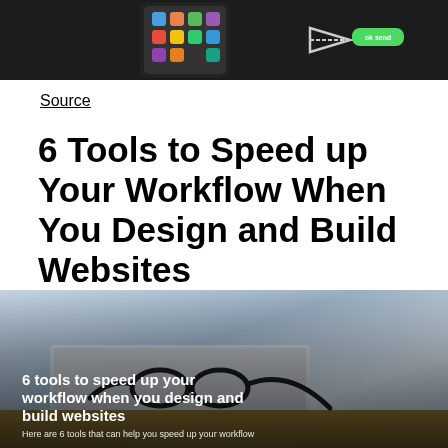[Figure (screenshot): Top portion of a mobile device screen showing app icons in a grid layout with a green chat bubble on the right side and an arrow graphic]
Source
6 Tools to Speed up Your Workflow When You Design and Build Websites
[Figure (photo): Photo of glasses resting on a laptop on a wooden desk with overlay text reading '6 tools to speed up your workflow when you design and build websites' and subtitle 'Here are 6 tools that can help you speed up your workflow']